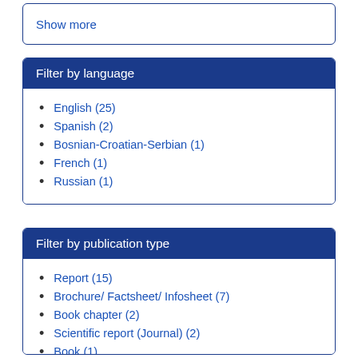Show more
Filter by language
English (25)
Spanish (2)
Bosnian-Croatian-Serbian (1)
French (1)
Russian (1)
Filter by publication type
Report (15)
Brochure/ Factsheet/ Infosheet (7)
Book chapter (2)
Scientific report (Journal) (2)
Book (1)
Show more